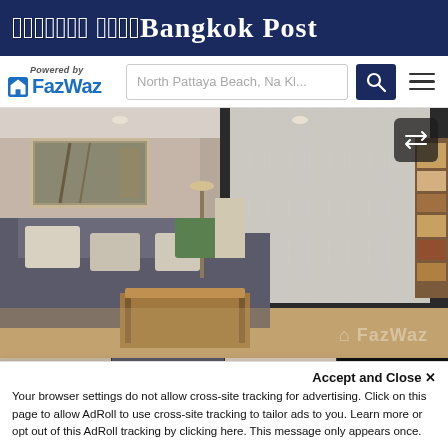Bangkok Post
[Figure (logo): FazWaz logo with Powered by text, search bar showing North Pattaya Beach Na Kl..., search icon button, and hamburger menu icon]
[Figure (photo): Interior photo of a modern apartment living room with grey sectional sofa, cushions, coffee table, artwork on wall, floor lamp, dining area in background, and large floor-to-ceiling curtained window. FazWaz watermark visible.]
[Figure (photo): Thumbnail row: three interior apartment photos and a See All overlay button on the fourth thumbnail]
Accept and Close ×
Your browser settings do not allow cross-site tracking for advertising. Click on this page to allow AdRoll to use cross-site tracking to tailor ads to you. Learn more or opt out of this AdRoll tracking by clicking here. This message only appears once.